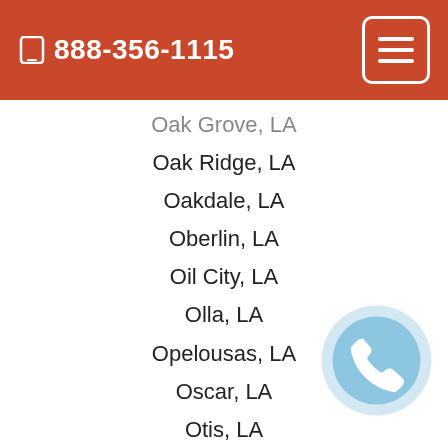888-356-1115
Oak Grove, LA
Oak Ridge, LA
Oakdale, LA
Oberlin, LA
Oil City, LA
Olla, LA
Opelousas, LA
Oscar, LA
Otis, LA
Paincourtville, LA
Palmetto, LA
Paradis, LA
Patterson, LA
Paulina, LA
Pearl River, LA
Pelican, LA
Perry, LA
Pierre Part, LA
Pilottown, LA
[Figure (illustration): Blue circular phone call button icon]